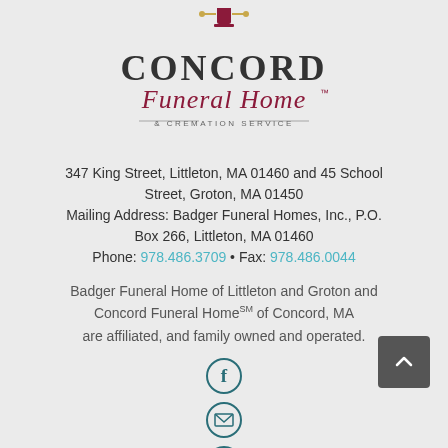[Figure (logo): Concord Funeral Home and Cremation Service logo with lantern icon above stylized text]
347 King Street, Littleton, MA 01460 and 45 School Street, Groton, MA 01450
Mailing Address: Badger Funeral Homes, Inc., P.O. Box 266, Littleton, MA 01460
Phone: 978.486.3709 • Fax: 978.486.0044
Badger Funeral Home of Littleton and Groton and Concord Funeral HomeSM of Concord, MA are affiliated, and family owned and operated.
[Figure (illustration): Social media and contact icons: Facebook circle icon, email envelope circle icon, map pin circle icon]
[Figure (illustration): Back to top button (dark gray rounded square with upward chevron arrow)]